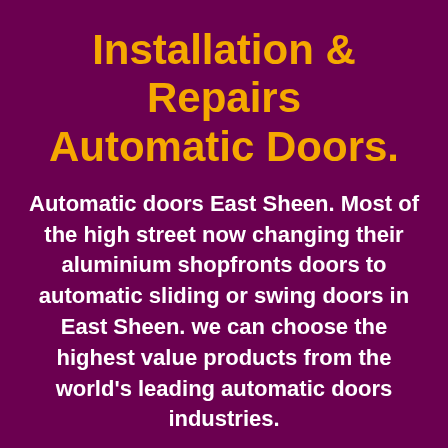Installation & Repairs Automatic Doors.
Automatic doors East Sheen. Most of the high street now changing their aluminium shopfronts doors to automatic sliding or swing doors in East Sheen. we can choose the highest value products from the world's leading automatic doors industries.
At Automatic Doors you can believe nothing but the best quality product. We